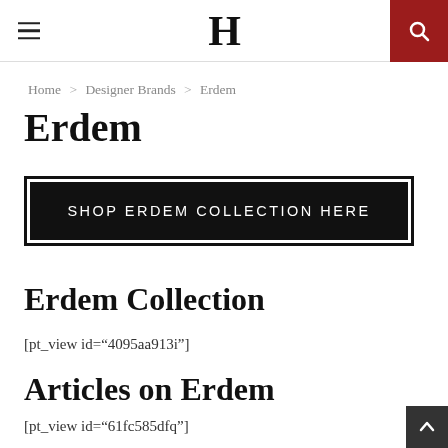H (logo header with hamburger menu and search)
Home > Designer Brands > Erdem
Erdem
SHOP ERDEM COLLECTION HERE
Erdem Collection
[pt_view id="4095aa913i"]
Articles on Erdem
[pt_view id="61fc585dfq"]